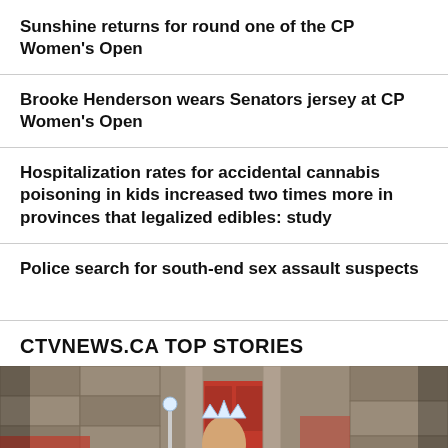Sunshine returns for round one of the CP Women's Open
Brooke Henderson wears Senators jersey at CP Women's Open
Hospitalization rates for accidental cannabis poisoning in kids increased two times more in provinces that legalized edibles: study
Police search for south-end sex assault suspects
CTVNEWS.CA TOP STORIES
[Figure (photo): A man wearing a paper crown/hat standing in front of a stone building with a red door, holding a scepter, surrounded by people in red clothing]